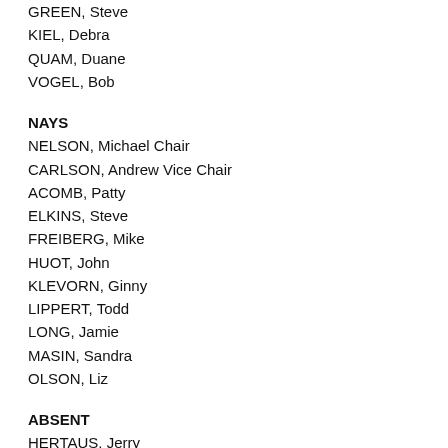GREEN, Steve
KIEL, Debra
QUAM, Duane
VOGEL, Bob
NAYS
NELSON, Michael Chair
CARLSON, Andrew Vice Chair
ACOMB, Patty
ELKINS, Steve
FREIBERG, Mike
HUOT, John
KLEVORN, Ginny
LIPPERT, Todd
LONG, Jamie
MASIN, Sandra
OLSON, Liz
ABSENT
HERTAUS, Jerry
NASH, Jim